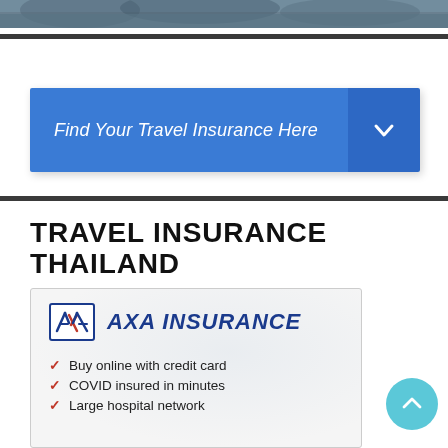[Figure (photo): Top portion of a travel/landscape photo showing sky and trees, partially cropped]
Find Your Travel Insurance Here
TRAVEL INSURANCE THAILAND
[Figure (logo): AXA Insurance logo with blue box logo and text 'AXA INSURANCE']
Buy online with credit card
COVID insured in minutes
Large hospital network